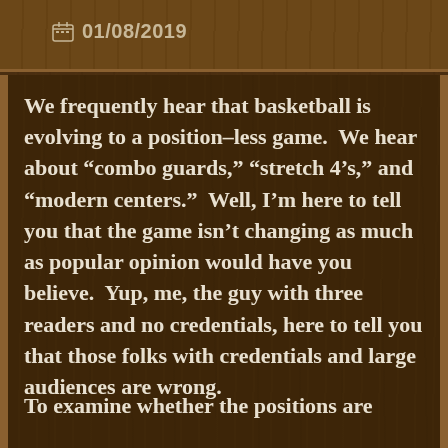01/08/2019
We frequently hear that basketball is evolving to a position-less game.  We hear about “combo guards,” “stretch 4’s,” and “modern centers.”  Well, I’m here to tell you that the game isn’t changing as much as popular opinion would have you believe.  Yup, me, the guy with three readers and no credentials, here to tell you that those folks with credentials and large audiences are wrong.
To examine whether the positions are